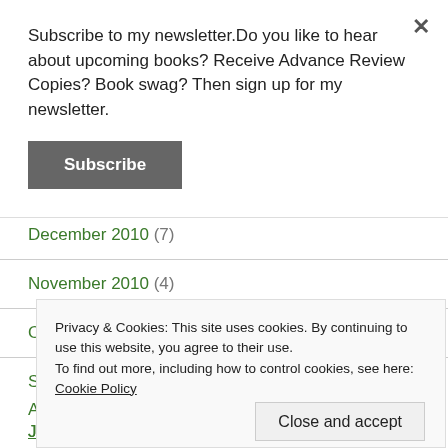Subscribe to my newsletter.Do you like to hear about upcoming books? Receive Advance Review Copies? Book swag? Then sign up for my newsletter.
Subscribe
December 2010 (7)
November 2010 (4)
October 2010 (5)
Privacy & Cookies: This site uses cookies. By continuing to use this website, you agree to their use. To find out more, including how to control cookies, see here: Cookie Policy
Close and accept
June 2010 (54)